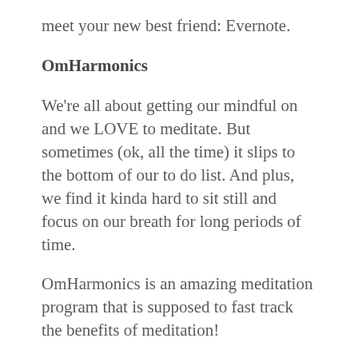meet your new best friend: Evernote.
OmHarmonics
We're all about getting our mindful on and we LOVE to meditate. But sometimes (ok, all the time) it slips to the bottom of our to do list. And plus, we find it kinda hard to sit still and focus on our breath for long periods of time.
OmHarmonics is an amazing meditation program that is supposed to fast track the benefits of meditation!